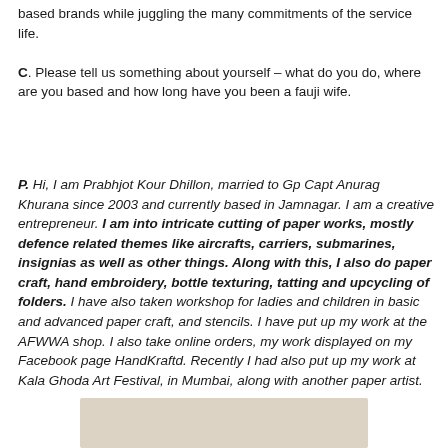based brands while juggling the many commitments of the service life.
C. Please tell us something about yourself – what do you do, where are you based and how long have you been a fauji wife.
P. Hi, I am Prabhjot Kour Dhillon, married to Gp Capt Anurag Khurana since 2003 and currently based in Jamnagar. I am a creative entrepreneur. I am into intricate cutting of paper works, mostly defence related themes like aircrafts, carriers, submarines, insignias as well as other things. Along with this, I also do paper craft, hand embroidery, bottle texturing, tatting and upcycling of folders. I have also taken workshop for ladies and children in basic and advanced paper craft, and stencils. I have put up my work at the AFWWA shop. I also take online orders, my work displayed on my Facebook page HandKraftd. Recently I had also put up my work at Kala Ghoda Art Festival, in Mumbai, along with another paper artist.
[Figure (photo): Partial bottom edge of a photograph visible at the bottom of the page]